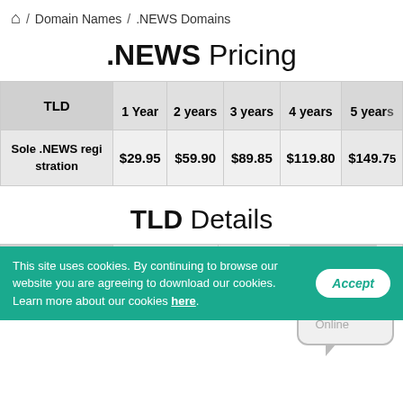🏠 / Domain Names / .NEWS Domains
.NEWS Pricing
| TLD | 1 Year | 2 years | 3 years | 4 years | 5 years |
| --- | --- | --- | --- | --- | --- |
| Sole .NEWS registration | $29.95 | $59.90 | $89.85 | $119.80 | $149.75 |
TLD Details
| TLD | Registrar-Lock | Transfers | Edit WHOIS | ID |
| --- | --- | --- | --- | --- |
This site uses cookies. By continuing to browse our website you are agreeing to download our cookies. Learn more about our cookies here.